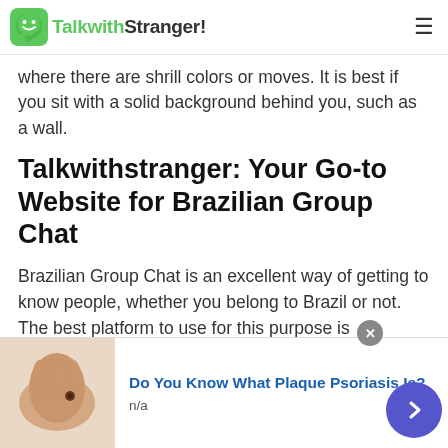TalkwithStranger!
where there are shrill colors or moves. It is best if you sit with a solid background behind you, such as a wall.
Talkwithstranger: Your Go-to Website for Brazilian Group Chat
Brazilian Group Chat is an excellent way of getting to know people, whether you belong to Brazil or not. The best platform to use for this purpose is undoubtedly Talkwithstranger! Our website allows you to communicate with people from any part of the world.
[Figure (other): Advertisement banner: skin condition image with text 'Do You Know What Plaque Psoriasis Is?' and n/a label]